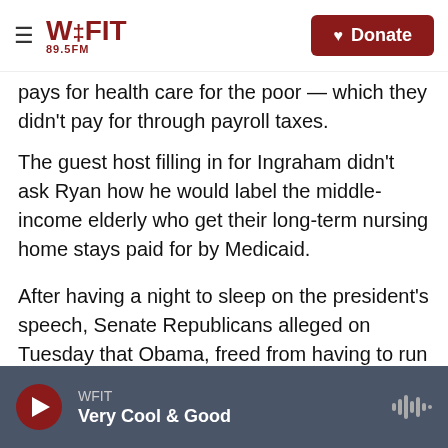WFIT 89.5FM | Donate
pays for health care for the poor — which they didn't pay for through payroll taxes.
The guest host filling in for Ingraham didn't ask Ryan how he would label the middle-income elderly who get their long-term nursing home stays paid for by Medicaid.
After having a night to sleep on the president's speech, Senate Republicans alleged on Tuesday that Obama, freed from having to run for re-election, finally revealed to the world how much of a liberal throwback he actually is.
WFIT — Very Cool & Good